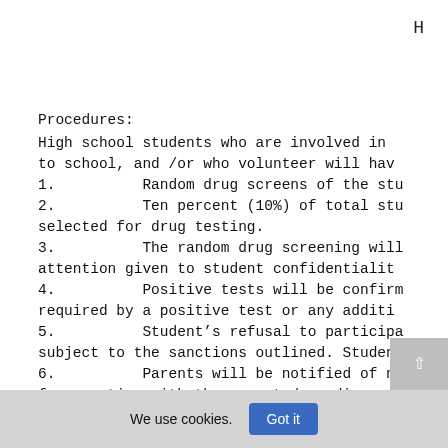H
Procedures:
High school students who are involved in to school, and /or who volunteer will hav
1.          Random drug screens of the stu
2.          Ten percent (10%) of total stu selected for drug testing.
3.          The random drug screening will attention given to student confidentialit
4.          Positive tests will be confirm required by a positive test or any additi
5.          Student’s refusal to participa subject to the sanctions outlined. Studen
6.          Parents will be notified of ne face meeting with the parents/guardians.
7.          Student positive test results